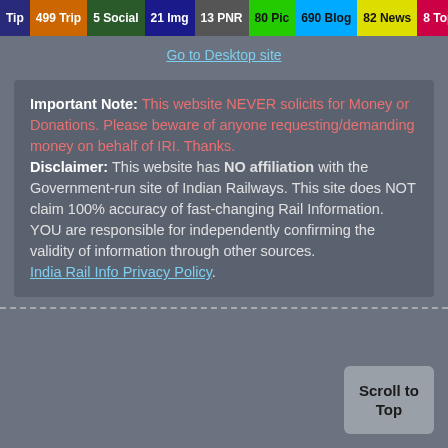Tip | 499 Trip | 5 Social | 21 Img | 13 PNR | 80 Pic | 690 Blog | 82 News | 8 Topic
Go to Desktop site
Important Note: This website NEVER solicits for Money or Donations. Please beware of anyone requesting/demanding money on behalf of IRI. Thanks. Disclaimer: This website has NO affiliation with the Government-run site of Indian Railways. This site does NOT claim 100% accuracy of fast-changing Rail Information. YOU are responsible for independently confirming the validity of information through other sources. India Rail Info Privacy Policy.
Scroll to Top